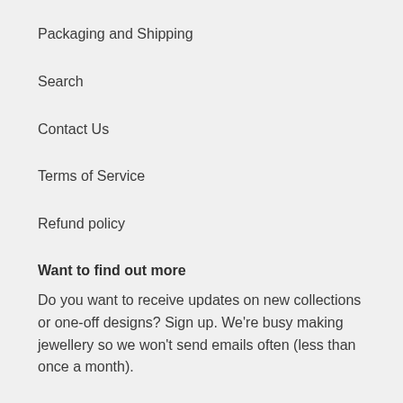Packaging and Shipping
Search
Contact Us
Terms of Service
Refund policy
Want to find out more
Do you want to receive updates on new collections or one-off designs? Sign up. We're busy making jewellery so we won't send emails often (less than once a month).